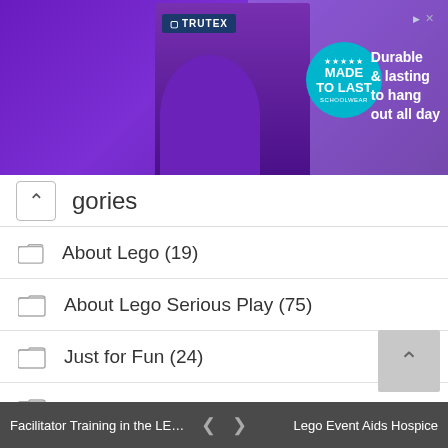[Figure (photo): Trutex schoolwear advertisement showing a child in purple uniform with 'Made to Last' badge and text 'Durable & lasting to hang out all day']
Categories
About Lego (19)
About Lego Serious Play (75)
Just for Fun (24)
Lego Serious Play Bricks (24)
Pro Community (29)
Serious Play Case Studies (106)
Serious Play Discussion (195)
Facilitator Training in the LEGO... < > Lego Event Aids Hospice